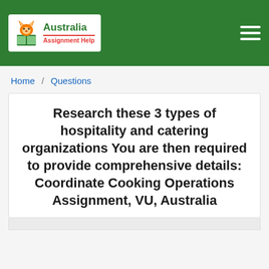[Figure (logo): Australia Assignment Help logo with fox mascot on white background inside green header bar]
Home / Questions
Research these 3 types of hospitality and catering organizations You are then required to provide comprehensive details: Coordinate Cooking Operations Assignment, VU, Australia